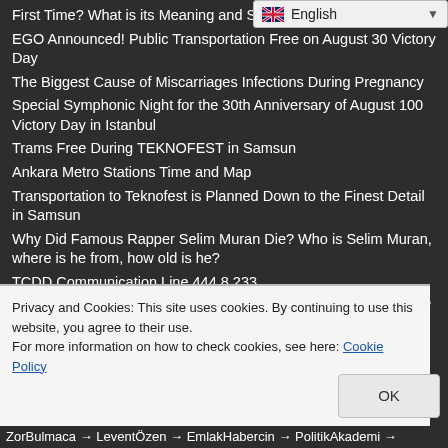First Time? What is its Meaning and Sig...
EGO Announced! Public Transportation Free on August 30 Victory Day
The Biggest Cause of Miscarriages Infections During Pregnancy
Special Symphonic Night for the 30th Anniversary of August 100 Victory Day in Istanbul
Trams Free During TEKNOFEST in Samsun
Ankara Metro Stations Time and Map
Transportation to Teknofest is Planned Down to the Finest Detail in Samsun
Why Did Famous Rapper Selim Muran Die? Who is Selim Muran, where is he from, how old is he?
TCDD Communication Line 444 8 233
What is a Genetic Engineer, What Does He Do, How to Become?
Genetic Engineer Salaries 2022
Privacy and Cookies: This site uses cookies. By continuing to use this website, you agree to their use.
For more information on how to check cookies, see here: Cookie Policy
ZorBulmaca → LeventÖzen → EmlakHabercin → PolitikAkademi →